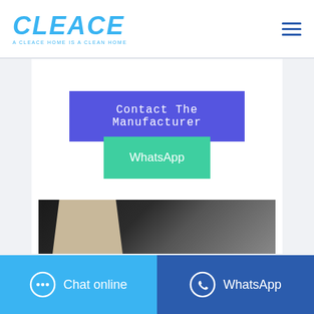[Figure (logo): CLEACE logo in blue italic bold text with tagline 'A CLEACE HOME IS A CLEAN HOME']
Contact The Manufacturer
WhatsApp
[Figure (photo): Product photo showing a beige/tan fabric bag or filter on a dark background]
Chat online
WhatsApp